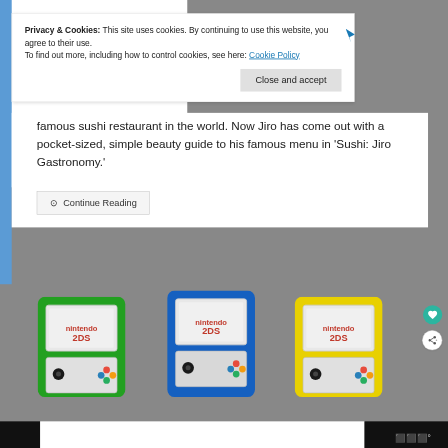famous sushi restaurant in the world. Now Jiro has come out with a pocket-sized, simple beauty guide to his famous menu in 'Sushi: Jiro Gastronomy.'
⊙  Continue Reading
Privacy & Cookies: This site uses cookies. By continuing to use this website, you agree to their use.
To find out more, including how to control cookies, see here: Cookie Policy
Close and accept
[Figure (photo): Three Nintendo 2DS handheld gaming consoles in green, blue, and yellow colors displayed side by side]